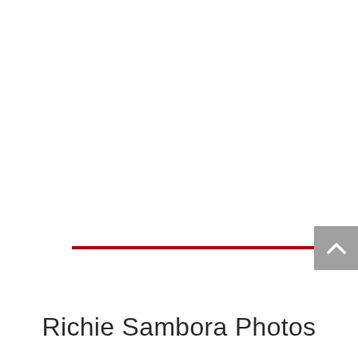[Figure (other): Gray scroll-to-top button with upward chevron arrow on right side of page]
Richie Sambora Photos